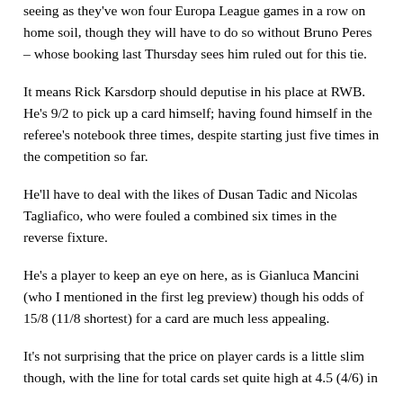seeing as they've won four Europa League games in a row on home soil, though they will have to do so without Bruno Peres – whose booking last Thursday sees him ruled out for this tie.
It means Rick Karsdorp should deputise in his place at RWB. He's 9/2 to pick up a card himself; having found himself in the referee's notebook three times, despite starting just five times in the competition so far.
He'll have to deal with the likes of Dusan Tadic and Nicolas Tagliafico, who were fouled a combined six times in the reverse fixture.
He's a player to keep an eye on here, as is Gianluca Mancini (who I mentioned in the first leg preview) though his odds of 15/8 (11/8 shortest) for a card are much less appealing.
It's not surprising that the price on player cards is a little slim though, with the line for total cards set quite high at 4.5 (4/6) in